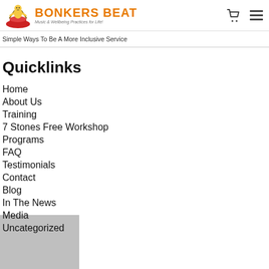[Figure (logo): Bonkers Beat logo with cartoon figure playing drums and orange stylized text, subtitle: Music & Wellbeing Practices for Life!]
Simple Ways To Be A More Inclusive Service
Quicklinks
Home
About Us
Training
7 Stones Free Workshop
Programs
FAQ
Testimonials
Contact
Blog
In The News
Media
Uncategorized